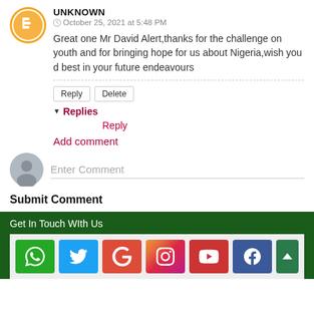UNKNOWN
October 25, 2021 at 5:48 PM
Great one Mr David Alert,thanks for the challenge on youth and for bringing hope for us about Nigeria,wish you d best in your future endeavours
Reply
Delete
Replies
Reply
Add comment
Enter Comment
Submit Comment
Get In Touch WIth Us